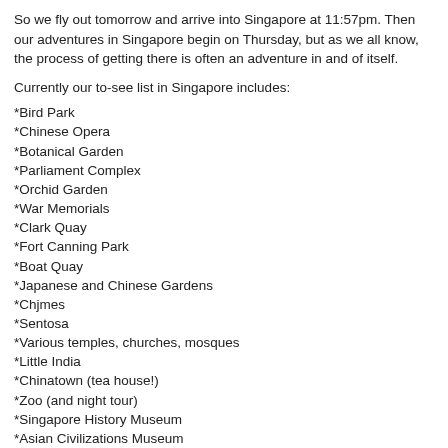So we fly out tomorrow and arrive into Singapore at 11:57pm. Then our adventures in Singapore begin on Thursday, but as we all know, the process of getting there is often an adventure in and of itself.
Currently our to-see list in Singapore includes:
*Bird Park
*Chinese Opera
*Botanical Garden
*Parliament Complex
*Orchid Garden
*War Memorials
*Clark Quay
*Fort Canning Park
*Boat Quay
*Japanese and Chinese Gardens
*Chjmes
*Sentosa
*Various temples, churches, mosques
*Little India
*Chinatown (tea house!)
*Zoo (and night tour)
*Singapore History Museum
*Asian Civilizations Museum
Now I seriously doubt this will be the only things we will see, but it is definitely a place to start. We have a really awesome guide book (DK Eyewitness Travel Guide to Singapore ISBN: 0-7894-9722-0, if anyone is interested) that takes us area by area, so we'll start with that and see how much we can get done. There's no daily itinerary as such, but should be plenty full anyway.